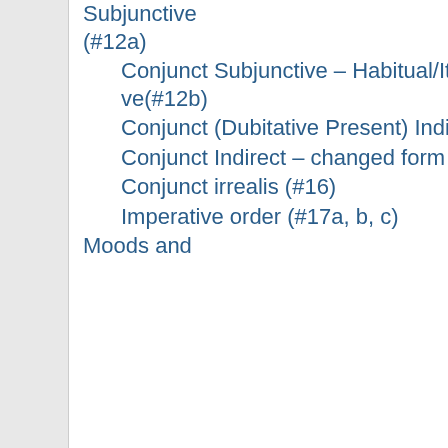Subjunctive (#12a)
Conjunct Subjunctive – Habitual/Iterative(#12b)
Conjunct (Dubitative Present) Indirect (#14a)
Conjunct Indirect – changed form (14b)
Conjunct irrealis (#16)
Imperative order (#17a, b, c)
Moods and